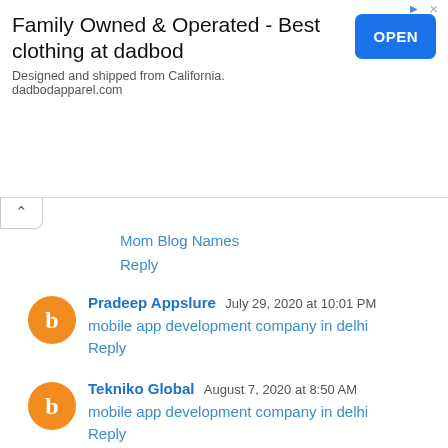[Figure (other): Advertisement banner: Family Owned & Operated - Best clothing at dadbod. Designed and shipped from California. dadbodapparel.com. With an OPEN button.]
Mom Blog Names
Reply
Pradeep Appslure   July 29, 2020 at 10:01 PM
mobile app development company in delhi
Reply
Tekniko Global   August 7, 2020 at 8:50 AM
mobile app development company in delhi
Reply